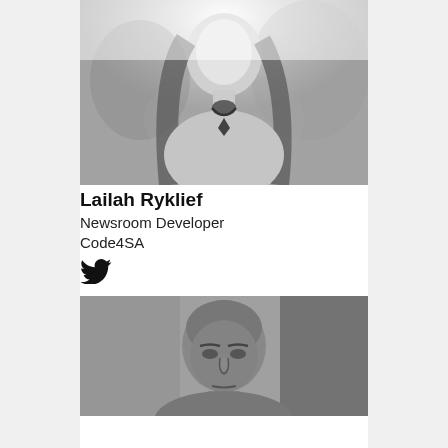[Figure (photo): Black and white photo of a woman with long dark hair wearing a necklace, photographed outdoors with foliage in the background]
Lailah Ryklief
Newsroom Developer
Code4SA
[Figure (illustration): Twitter bird icon (social media link)]
[Figure (photo): Black and white photo of a man with a shaved head, partial view at the bottom of the page]